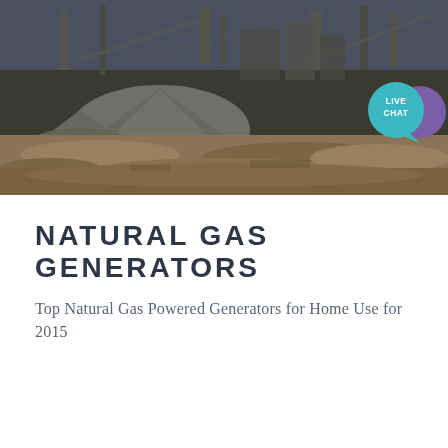[Figure (photo): Aerial/ground-level photograph of an industrial or mining site showing large piles of crushed rock/gravel, muddy terrain, industrial structures and conveyor systems in the background. A 'LIVE CHAT' speech bubble button is overlaid in the upper right of the image.]
NATURAL GAS GENERATORS
Top Natural Gas Powered Generators for Home Use for 2015